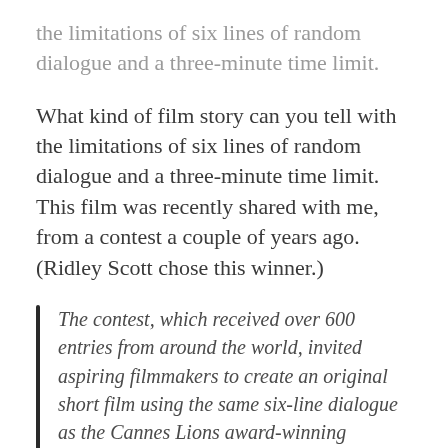the limitations of six lines of random dialogue and a three-minute time limit.
What kind of film story can you tell with the limitations of six lines of random dialogue and a three-minute time limit. This film was recently shared with me, from a contest a couple of years ago. (Ridley Scott chose this winner.)
The contest, which received over 600 entries from around the world, invited aspiring filmmakers to create an original short film using the same six-line dialogue as the Cannes Lions award-winning Parallel Lines short films directed by RSA talents Carl Erik Rinsch,